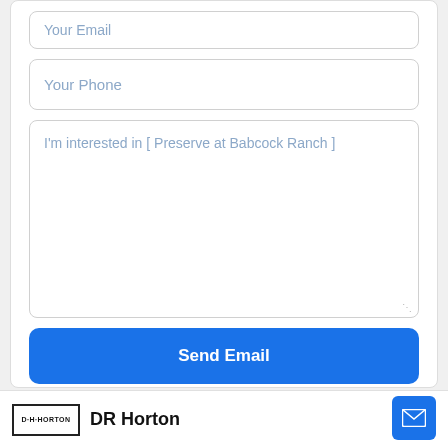Your Email
Your Phone
I'm interested in [ Preserve at Babcock Ranch ]
Send Email
[Figure (logo): DR Horton logo with company name]
[Figure (other): Blue mail/envelope icon button]